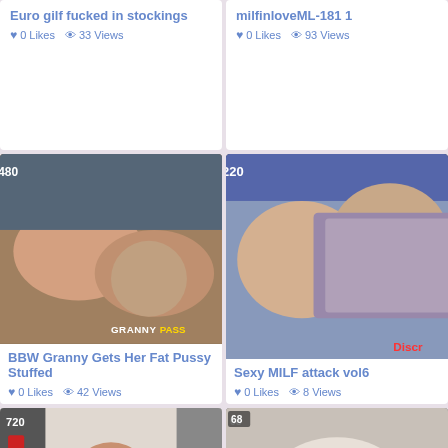Euro gilf fucked in stockings
0 Likes  33 Views
milfinloveML-181 1
0 Likes  93 Views
[Figure (photo): Video thumbnail showing BBW granny scene, badge: 480, watermark: GRANNYPASS]
BBW Granny Gets Her Fat Pussy Stuffed
0 Likes  42 Views
[Figure (photo): Video thumbnail showing MILF kiss scene, badge: 2220, watermark: Discr]
Sexy MILF attack vol6
0 Likes  8 Views
[Figure (photo): Video thumbnail 720p showing large woman]
[Figure (photo): Video thumbnail badge: 68, with English language selector bar at bottom]